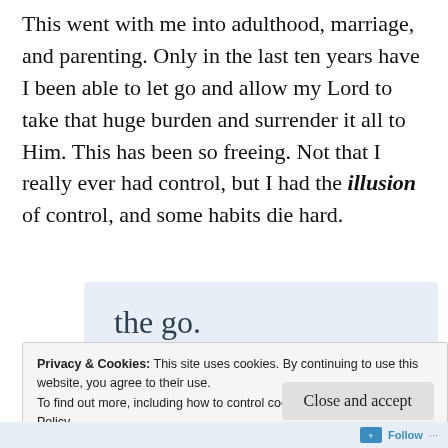This went with me into adulthood, marriage, and parenting. Only in the last ten years have I been able to let go and allow my Lord to take that huge burden and surrender it all to Him. This has been so freeing. Not that I really ever had control, but I had the illusion of control, and some habits die hard.
[Figure (screenshot): WordPress app advertisement banner with 'the go.' text and 'GET THE APP' link alongside WordPress logo]
Privacy & Cookies: This site uses cookies. By continuing to use this website, you agree to their use. To find out more, including how to control cookies, see here: Cookie Policy
Close and accept
Follow